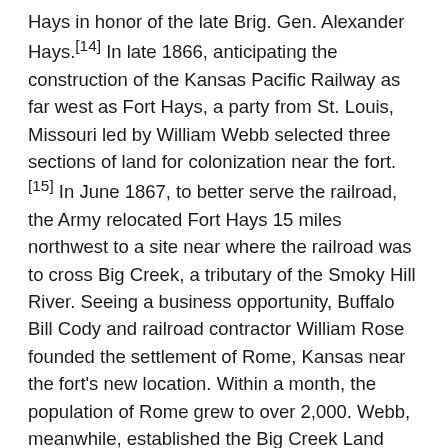Hays in honor of the late Brig. Gen. Alexander Hays.[14] In late 1866, anticipating the construction of the Kansas Pacific Railway as far west as Fort Hays, a party from St. Louis, Missouri led by William Webb selected three sections of land for colonization near the fort.[15] In June 1867, to better serve the railroad, the Army relocated Fort Hays 15 miles northwest to a site near where the railroad was to cross Big Creek, a tributary of the Smoky Hill River. Seeing a business opportunity, Buffalo Bill Cody and railroad contractor William Rose founded the settlement of Rome, Kansas near the fort's new location. Within a month, the population of Rome grew to over 2,000. Webb, meanwhile, established the Big Creek Land Company and then surveyed and platted a town site, which he named Hays City after the fort, roughly one mile east of Rome. The railroad reached Hays City soon thereafter and constructed a depot there. The railroad's arrival, combined with a cholera epidemic that hit Rome in the late summer of 1867, drove Rome businesses and residents to relocate to Hays City. Within a year, Rome was